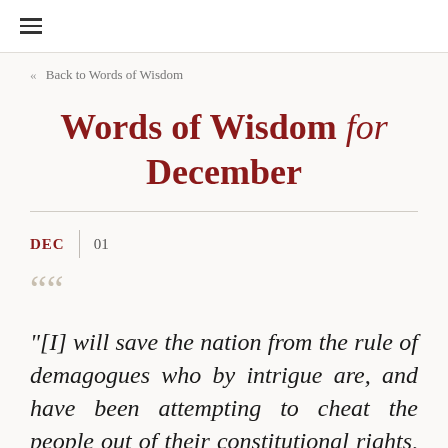≡
« Back to Words of Wisdom
Words of Wisdom for December
DEC 01
““
"[I] will save the nation from the rule of demagogues who by intrigue are, and have been attempting to cheat the people out of their constitutional rights, by a caucus of congressional